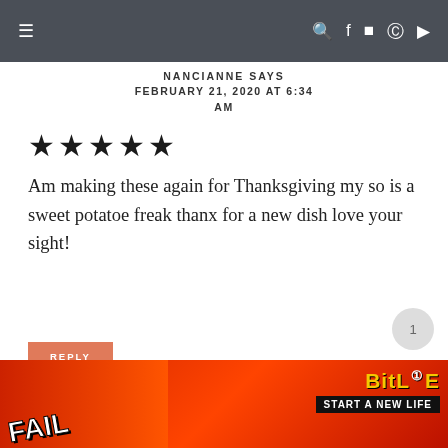≡   🔍 f 📷 p ▶
NANCIANNE SAYS
FEBRUARY 21, 2020 AT 6:34 AM
★★★★★
Am making these again for Thanksgiving my so is a sweet potatoe freak thanx for a new dish love your sight!
REPLY
[Figure (other): Advertisement banner for BitLife mobile game with 'FAIL' text and 'START A NEW LIFE' tagline on red background]